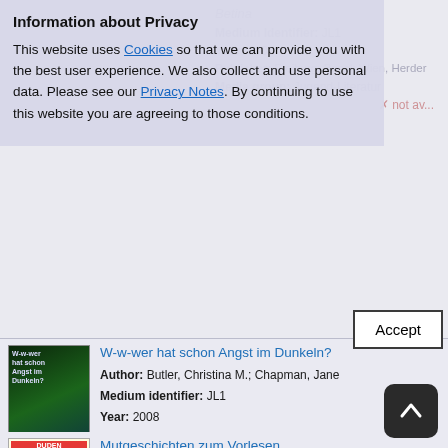Information about Privacy
This website uses Cookies so that we can provide you with the best user experience. We also collect and use personal data. Please see our Privacy Notes. By continuing to use this website you are agreeing to those conditions.
W-w-wer hat schon Angst im Dunkeln?
Author: Butler, Christina M.; Chapman, Jane
Medium identifier: JL1
Year: 2008
Publisher: Bindlach, Loewe
Media group: Jugend-Literatur
✓ available
Mutgeschichten zum Vorlesen
ab 4 Jahren
Medium identifier: JL4
Year: 2011
Publisher: Mannheim; Leipzig; Wien;